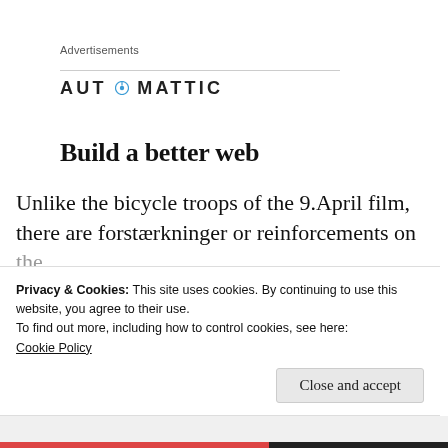Advertisements
[Figure (logo): Automattic logo with compass icon replacing the letter O, all caps, bold sans-serif]
Build a better web
Unlike the bicycle troops of the 9.April film, there are forstærkninger or reinforcements on the...
Privacy & Cookies: This site uses cookies. By continuing to use this website, you agree to their use.
To find out more, including how to control cookies, see here:
Cookie Policy
Close and accept